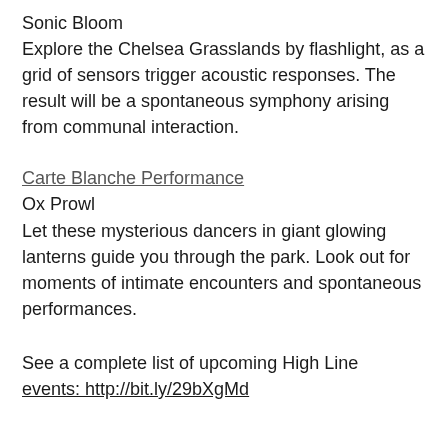Sonic Bloom
Explore the Chelsea Grasslands by flashlight, as a grid of sensors trigger acoustic responses. The result will be a spontaneous symphony arising from communal interaction.
Carte Blanche Performance
Ox Prowl
Let these mysterious dancers in giant glowing lanterns guide you through the park. Look out for moments of intimate encounters and spontaneous performances.
See a complete list of upcoming High Line events: http://bit.ly/29bXgMd